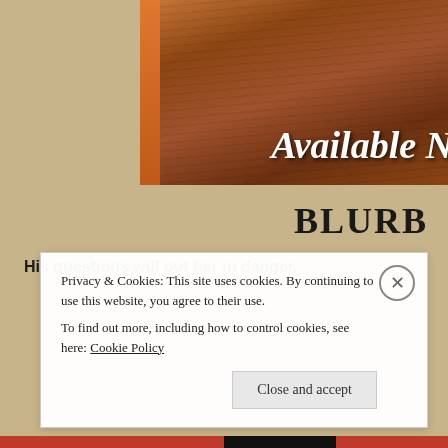[Figure (photo): Partial book cover photo showing a wooden dock/pier with warm brown tones and text 'Available N' partially visible in white italic text on the right side]
BLURB
His questions will put her in danger.
Privacy & Cookies: This site uses cookies. By continuing to use this website, you agree to their use.
To find out more, including how to control cookies, see here: Cookie Policy